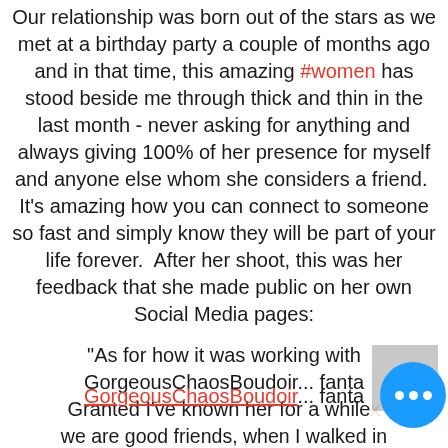Our relationship was born out of the stars as we met at a birthday party a couple of months ago and in that time, this amazing #women has stood beside me through thick and thin in the last month - never asking for anything and always giving 100% of her presence for myself and anyone else whom she considers a friend.  It's amazing how you can connect to someone so fast and simply know they will be part of your life forever.  After her shoot, this was her feedback that she made public on her own Social Media pages:
"As for how it was working with GorgeousChaosBoudoir... fanta... Granted I've known her for a while... we are good friends, when I walked in...